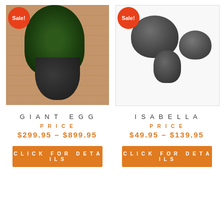[Figure (photo): Photo of a large black egg-shaped planter pot with a tree/plant on a brick-walled patio. A red 'Sale!' badge overlays the top-left corner.]
[Figure (photo): Product photo of three dark gray egg-shaped ceramic pots of different sizes on white background. A red 'Sale!' badge overlays the top-left corner.]
GIANT EGG
PRICE
$299.95 – $899.95
CLICK FOR DETAILS
ISABELLA
PRICE
$49.95 – $139.95
CLICK FOR DETAILS